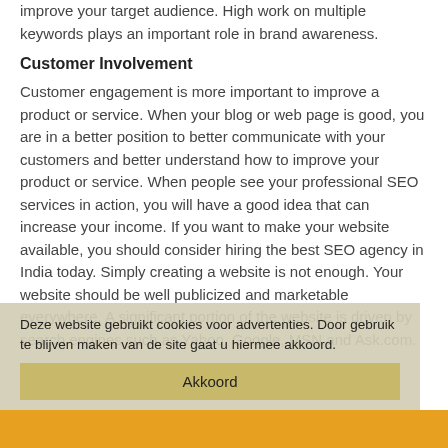improve your target audience. High work on multiple keywords plays an important role in brand awareness.
Customer Involvement
Customer engagement is more important to improve a product or service. When your blog or web page is good, you are in a better position to better communicate with your customers and better understand how to improve your product or service. When people see your professional SEO services in action, you will have a good idea that can increase your income. If you want to make your website available, you should consider hiring the best SEO agency in India today. Simply creating a website is not enough. Your website should be well publicized and marketable everywhere. A significant portion of the website is driven by search engines such as Yahoo, Google, MSN and Ask.com.
Deze website gebruikt cookies voor advertenties. Door gebruik te blijven maken van de site gaat u hiermee akkoord.